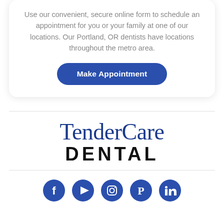Use our convenient, secure online form to schedule an appointment for you or your family at one of our locations. Our Portland, OR dentists have locations throughout the metro area.
[Figure (other): Blue rounded-rectangle button labeled 'Make Appointment']
[Figure (logo): TenderCare Dental logo: 'TenderCare' in blue serif font, 'DENTAL' in bold black sans-serif]
[Figure (other): Row of 5 circular dark blue social media icons: Facebook, YouTube, Instagram, Pinterest, LinkedIn]